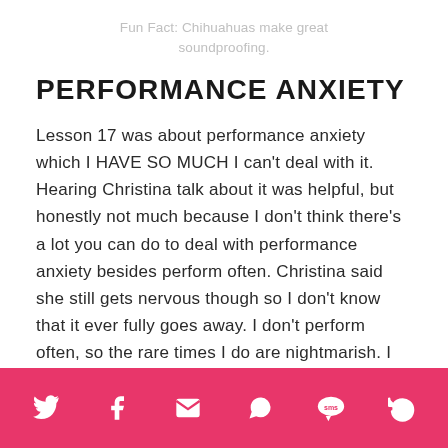Fun Fact: Chihuahuas make great soundproofing.
PERFORMANCE ANXIETY
Lesson 17 was about performance anxiety which I HAVE SO MUCH I can't deal with it. Hearing Christina talk about it was helpful, but honestly not much because I don't think there's a lot you can do to deal with performance anxiety besides perform often. Christina said she still gets nervous though so I don't know that it ever fully goes away. I don't perform often, so the rare times I do are nightmarish. I start panicking weeks in advance.
Social share icons: Twitter, Facebook, Email, WhatsApp, SMS, Refresh/Share